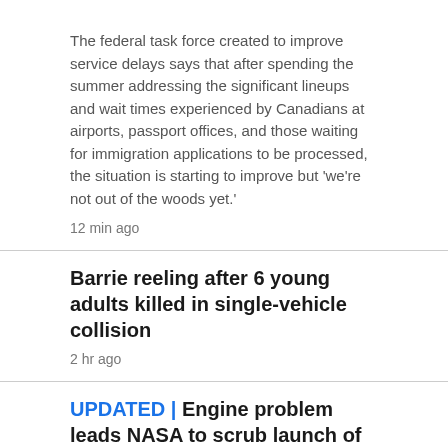The federal task force created to improve service delays says that after spending the summer addressing the significant lineups and wait times experienced by Canadians at airports, passport offices, and those waiting for immigration applications to be processed, the situation is starting to improve but 'we're not out of the woods yet.'
12 min ago
Barrie reeling after 6 young adults killed in single-vehicle collision
2 hr ago
UPDATED | Engine problem leads NASA to scrub launch of new moon rocket
46 min ago
Trudeau calls for leaders to take united stance after Fasc...